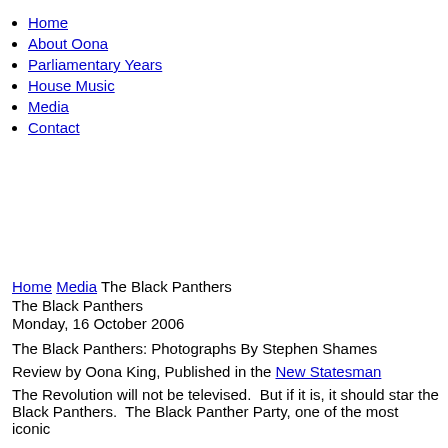Home
About Oona
Parliamentary Years
House Music
Media
Contact
Home Media The Black Panthers
The Black Panthers
Monday, 16 October 2006
The Black Panthers: Photographs By Stephen Shames
Review by Oona King, Published in the New Statesman
The Revolution will not be televised.  But if it is, it should star the Black Panthers.  The Black Panther Party, one of the most iconic